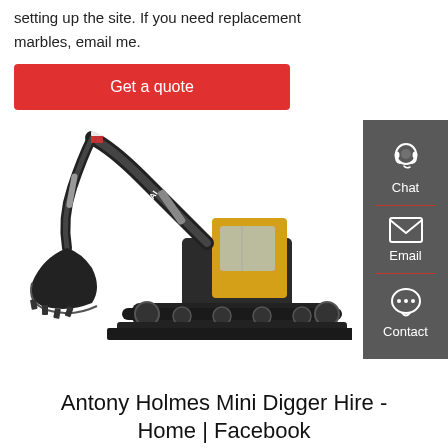setting up the site. If you need replacement marbles, email me.
Get a quote
[Figure (photo): Hyundai mini digger / excavator with yellow cab and black arm on a white background]
Antony Holmes Mini Digger Hire - Home | Facebook